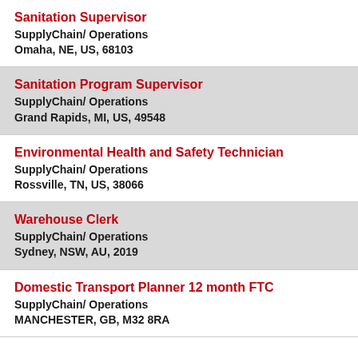Sanitation Supervisor
SupplyChain/ Operations
Omaha, NE, US, 68103
Sanitation Program Supervisor
SupplyChain/ Operations
Grand Rapids, MI, US, 49548
Environmental Health and Safety Technician
SupplyChain/ Operations
Rossville, TN, US, 38066
Warehouse Clerk
SupplyChain/ Operations
Sydney, NSW, AU, 2019
Domestic Transport Planner 12 month FTC
SupplyChain/ Operations
MANCHESTER, GB, M32 8RA